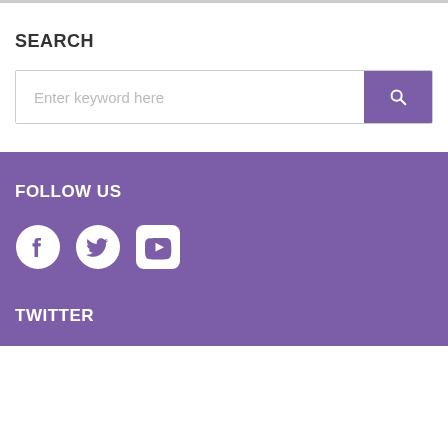SEARCH
[Figure (screenshot): Search input bar with placeholder text 'Enter keyword here' and a purple search button with magnifying glass icon]
FOLLOW US
[Figure (infographic): Three social media icons: Facebook, Twitter, YouTube in white on purple background]
TWITTER